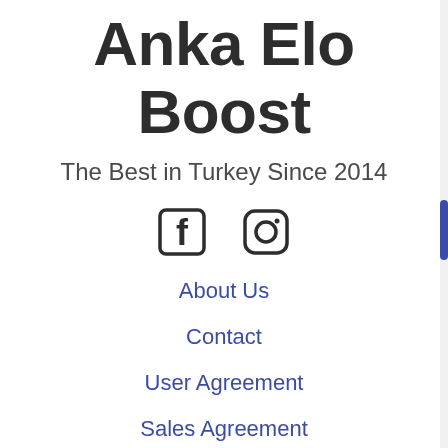Anka Elo Boost
The Best in Turkey Since 2014
[Figure (illustration): Facebook and Instagram social media icons side by side]
About Us
Contact
User Agreement
Sales Agreement
Privacy Policy
LoL Elo Boost